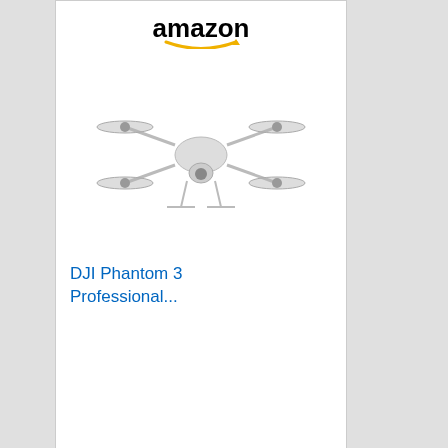[Figure (screenshot): Amazon product advertisement for DJI Phantom 3 Professional drone with Amazon logo, drone image, product name link, and Shop now button]
[Figure (screenshot): Amazon.com Books advertisement with orange background, Amazon.com logo, Books text, Click here button, and Privacy information text]